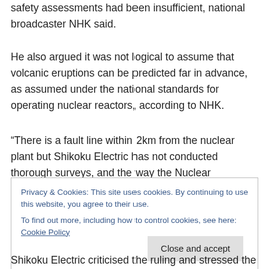safety assessments had been insufficient, national broadcaster NHK said.
He also argued it was not logical to assume that volcanic eruptions can be predicted far in advance, as assumed under the national standards for operating nuclear reactors, according to NHK.
“There is a fault line within 2km from the nuclear plant but Shikoku Electric has not conducted thorough surveys, and the way the Nuclear Regulation Authority reached its assessment that there was no problem contained errors
Privacy & Cookies: This site uses cookies. By continuing to use this website, you agree to their use.
To find out more, including how to control cookies, see here: Cookie Policy
Shikoku Electric criticised the ruling and stressed the